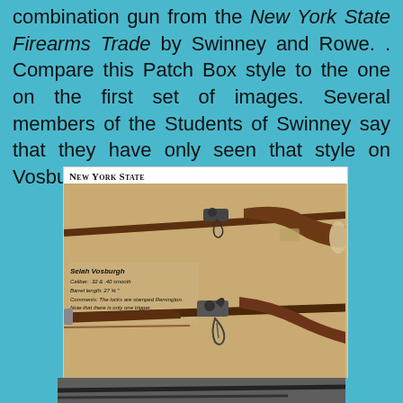combination gun from the New York State Firearms Trade by Swinney and Rowe. . Compare this Patch Box style to the one on the first set of images. Several members of the Students of Swinney say that they have only seen that style on Vosburgh guns.
[Figure (photo): Book page showing two Selah Vosburgh combination guns photographed against a tan background, with caption text identifying the maker, caliber (.32 & .40 smooth), barrel length (27 5/8"), and notes that the locks are stamped Remington and there is only one trigger. Collection of Dan Schlegel. Page number 1628 shown at bottom. Header reads 'New York State'.]